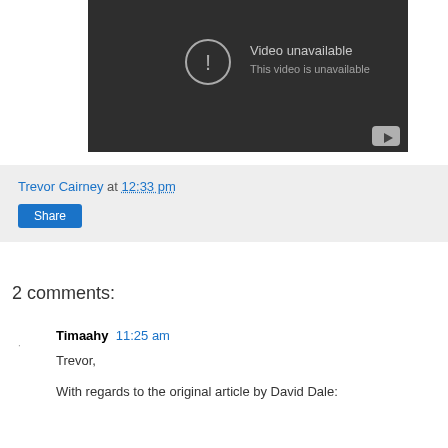[Figure (screenshot): YouTube video embed showing 'Video unavailable - This video is unavailable' message on dark background with YouTube play button icon in bottom right corner]
Trevor Cairney at 12:33 pm
Share
2 comments:
Timaahy 11:25 am
Trevor,

With regards to the original article by David Dale: